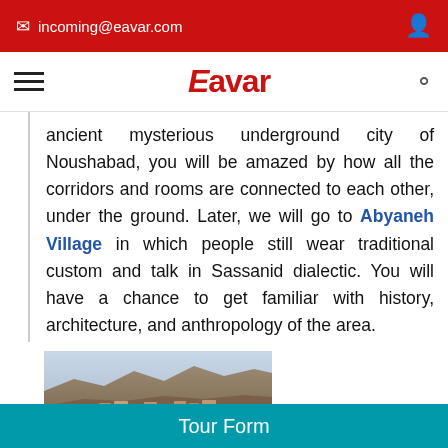incoming@eavar.com
Eavar
ancient mysterious underground city of Noushabad, you will be amazed by how all the corridors and rooms are connected to each other, under the ground. Later, we will go to Abyaneh Village in which people still wear traditional custom and talk in Sassanid dialectic. You will have a chance to get familiar with history, architecture, and anthropology of the area.
[Figure (photo): Photo of Abyaneh Village showing hillside terrain with traditional buildings]
Tour Form